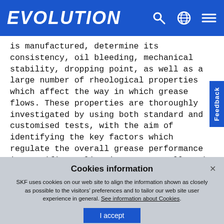EVOLUTION
is manufactured, determine its consistency, oil bleeding, mechanical stability, dropping point, as well as a large number of rheological properties which affect the way in which grease flows. These properties are thoroughly investigated by using both standard and customised tests, with the aim of identifying the key factors which regulate the overall grease performance in specific applications. Eventually, the objective of these activities translates into specific questions: “What makes grease a high-speed grease?
Cookies information
SKF uses cookies on our web site to align the information shown as closely as possible to the visitors’ preferences and to tailor our web site user experience in general. See information about Cookies.